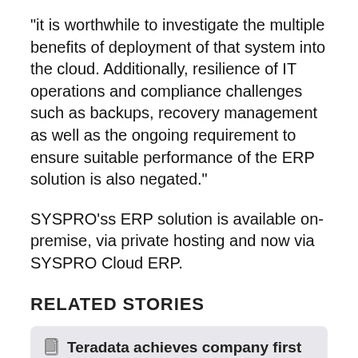"it is worthwhile to investigate the multiple benefits of deployment of that system into the cloud. Additionally, resilience of IT operations and compliance challenges such as backups, recovery management as well as the ongoing requirement to ensure suitable performance of the ERP solution is also negated."
SYSPRO'ss ERP solution is available on-premise, via private hosting and now via SYSPRO Cloud ERP.
RELATED STORIES
Teradata achieves company first with latest release
Dell launches latest infrastructure solutions, co-created with VMware
Keeping Australian hospitals safe from